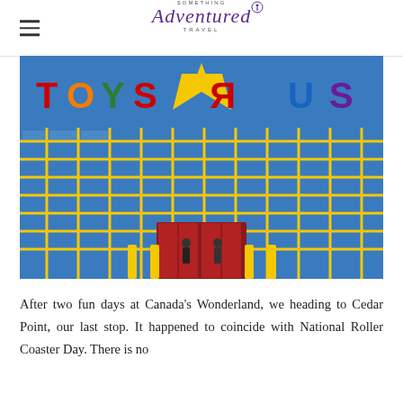Something Adventured Travel
[Figure (photo): Exterior facade of a Toys R Us store showing the colorful sign with large letters T-O-Y-S-R-U-S in red, orange, green, blue, yellow, purple against a blue building with yellow grid windows. Two people stand in front of the red entrance doors below yellow bollards.]
After two fun days at Canada's Wonderland, we heading to Cedar Point, our last stop. It happened to coincide with National Roller Coaster Day. There is no